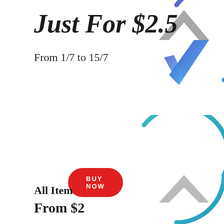Just For $2.5
From 1/7 to 15/7
BUY NOW
[Figure (illustration): Circular logo with blue gradient arc border and blue/gray arrow/chevron symbol inside, partially cropped at top right]
All Item
From $2
[Figure (illustration): Circular logo with teal/blue arc border and gray chevron symbol inside, partially cropped at bottom right]